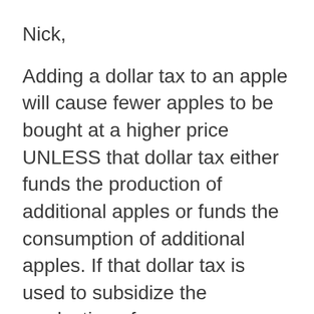Nick,
Adding a dollar tax to an apple will cause fewer apples to be bought at a higher price UNLESS that dollar tax either funds the production of additional apples or funds the consumption of additional apples. If that dollar tax is used to subsidize the production of oranges or increase the consumption of oranges then the relative costs of apples and oranges will change. And here I would agree, tax policies that change the relative prices of goods can be considered